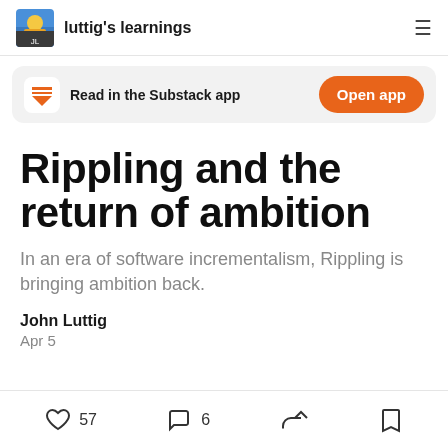luttig's learnings
Read in the Substack app
Rippling and the return of ambition
In an era of software incrementalism, Rippling is bringing ambition back.
John Luttig
Apr 5
57  6